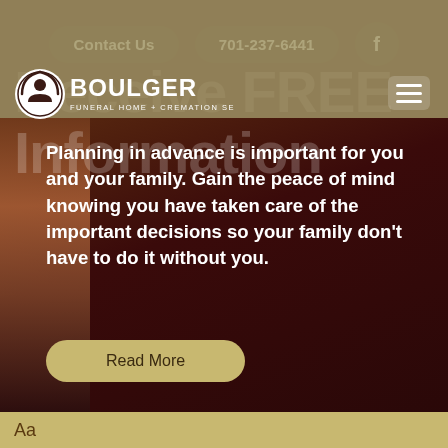Contact Us | 701-237-6441 | Facebook
[Figure (logo): Boulger Funeral Home + Cremation Services logo with circular emblem]
Receive FREE Information
Planning in advance is important for you and your family. Gain the peace of mind knowing you have taken care of the important decisions so your family don't have to do it without you.
Read More
Aa